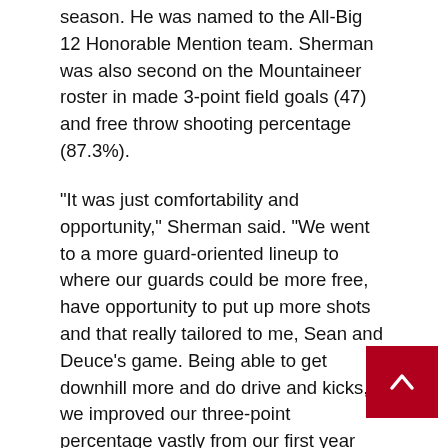season. He was named to the All-Big 12 Honorable Mention team. Sherman was also second on the Mountaineer roster in made 3-point field goals (47) and free throw shooting percentage (87.3%).
“It was just comfortability and opportunity,” Sherman said. “We went to a more guard-oriented lineup to where our guards could be more free, have opportunity to put up more shots and that really tailored to me, Sean and Deuce’s game. Being able to get downhill more and do drive and kicks, we improved our three-point percentage vastly from our first year here together.”
Sherman, who said he’s currently at 188 pounds, will be looking to add weight.
“I can gain five to eight more pounds to be more in the area of a combo guard,” he said. “With my play style, posting up smaller players and playing that slower style, they want me to gain more weight.”
With Sherman taking advantage of an extra year of eligibility due to the pandemic, WVU will be able to go over the normal scholarship limit of 13 players. Forward Gabe Osabuohion